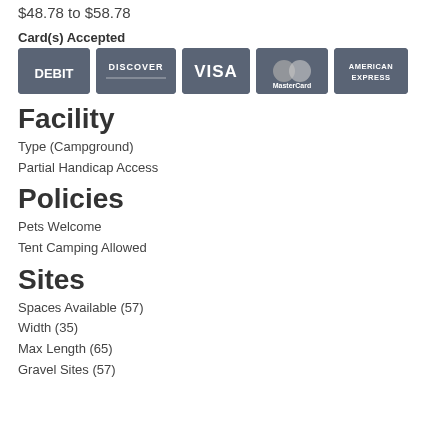$48.78 to $58.78
Card(s) Accepted
[Figure (illustration): Payment card logos: DEBIT, DISCOVER, VISA, MasterCard, AMERICAN EXPRESS]
Facility
Type (Campground)
Partial Handicap Access
Policies
Pets Welcome
Tent Camping Allowed
Sites
Spaces Available (57)
Width (35)
Max Length (65)
Gravel Sites (57)